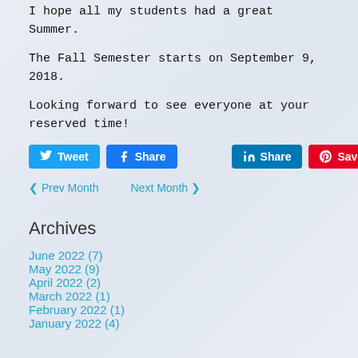I hope all my students had a great Summer.
The Fall Semester starts on September 9, 2018.
Looking forward to see everyone at your reserved time!
Social share buttons: Tweet, Share (Facebook), Share (LinkedIn), Save (Pinterest)
< Prev Month    Next Month >
Archives
June 2022 (7)
May 2022 (9)
April 2022 (2)
March 2022 (1)
February 2022 (1)
January 2022 (4)